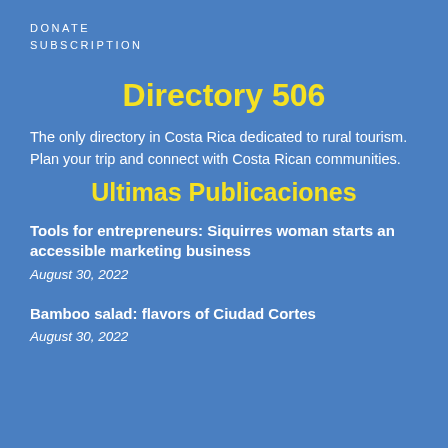DONATE
SUBSCRIPTION
Directory 506
The only directory in Costa Rica dedicated to rural tourism. Plan your trip and connect with Costa Rican communities.
Ultimas Publicaciones
Tools for entrepreneurs: Siquirres woman starts an accessible marketing business
August 30, 2022
Bamboo salad: flavors of Ciudad Cortes
August 30, 2022